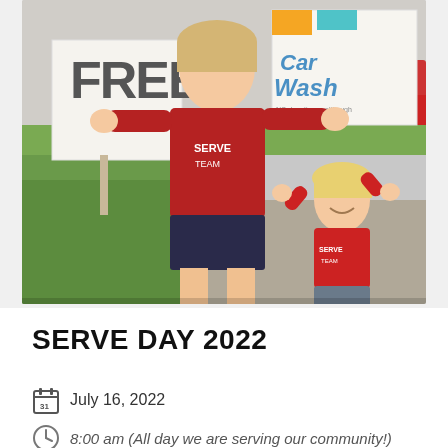[Figure (photo): Two children in red 'SERVE TEAM' t-shirts holding signs reading 'FREE' and 'Car Wash' on a sidewalk. The older girl is tall and the younger is a small toddler-age boy holding the car wash sign above his head. Green grass and a parking lot are visible in the background.]
SERVE DAY 2022
July 16, 2022
8:00 am (All day we are serving our community!)